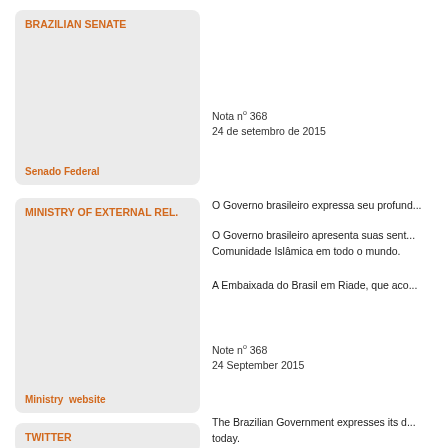BRAZILIAN SENATE
Senado Federal
Nota nº 368
24 de setembro de 2015
MINISTRY OF EXTERNAL REL.
Ministry  website
O Governo brasileiro expressa seu profund...
O Governo brasileiro apresenta suas sent... Comunidade Islâmica em todo o mundo.
A Embaixada do Brasil em Riade, que aco...
Note nº 368
24 September 2015
TWITTER
The Brazilian Government expresses its d... today.